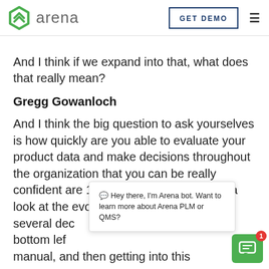arena | GET DEMO
And I think if we expand into that, what does that really mean?
Gregg Gowanloch
And I think the big question to ask yourselves is how quickly are you able to evaluate your product data and make decisions throughout the organization that you can be really confident are 100% accurate? If we take a look at the evolution of product [several dec...] bottom left manual, and then getting into this